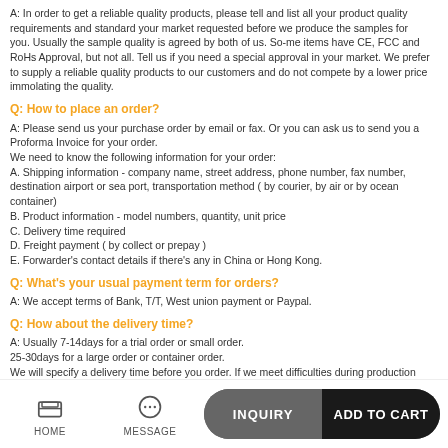A: In order to get a reliable quality products, please tell and list all your product quality requirements and standard your market requested before we produce the samples for you. Usually the sample quality is agreed by both of us. So-me items have CE, FCC and RoHs Approval, but not all. Tell us if you need a special approval in your market. We prefer to supply a reliable quality products to our customers and do not compete by a lower price immolating the quality.
Q: How to place an order?
A: Please send us your purchase order by email or fax. Or you can ask us to send you a Proforma Invoice for your order.
We need to know the following information for your order:
A. Shipping information - company name, street address, phone number, fax number, destination airport or sea port, transportation method ( by courier, by air or by ocean container)
B. Product information - model numbers, quantity, unit price
C. Delivery time required
D. Freight payment ( by collect or prepay )
E. Forwarder's contact details if there's any in China or Hong Kong.
Q: What's your usual payment term for orders?
A: We accept terms of Bank, T/T, West union payment or Paypal.
Q: How about the delivery time?
A: Usually 7-14days for a trial order or small order.
25-30days for a large order or container order.
We will specify a delivery time before you order. If we meet difficulties during production and could not ship to them in time, we will inform you in advance and tell you the causes.
Q: What's the warranty of your products and how about the after-sale service?
A: From 6 months to 2 years, depending on the products.
We will tell you a specific warranty when you order from us.
The warranty period is valid from shipment date or B/L date. Tell us by e-mail or telephone or fax in time any questions or difficulties for help if you sale.
Q: Do you accept OEM and print our logo or company name on these package box we order from you?
A: Yes. OEM and ODM is welcome. But sometimes we will set a MOQ for OEM order.
HOME  MESSAGE  INQUIRY  ADD TO CART